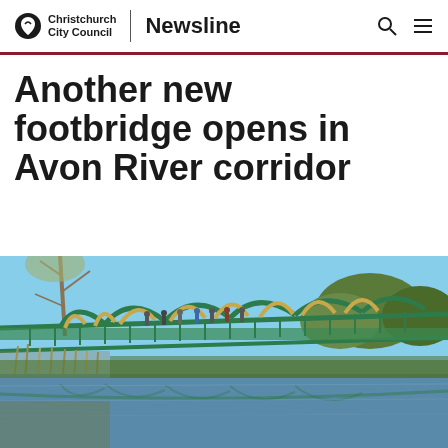Christchurch City Council | Newsline
Another new footbridge opens in Avon River corridor
[Figure (photo): A green arched footbridge with people walking across it, reflected in the still waters of the Avon River below. Reeds, autumn trees, and blue sky visible in the background.]